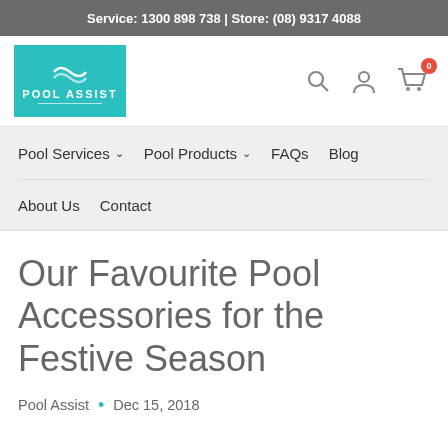Service: 1300 898 738 | Store: (08) 9317 4088
[Figure (logo): Pool Assist teal logo square with white text POOL ASSIST and underline]
[Figure (infographic): Navigation icons: search magnifier, user/account icon, shopping cart with badge showing 0]
Pool Services ▾
Pool Products ▾
FAQs
Blog
About Us
Contact
Our Favourite Pool Accessories for the Festive Season
Pool Assist • Dec 15, 2018